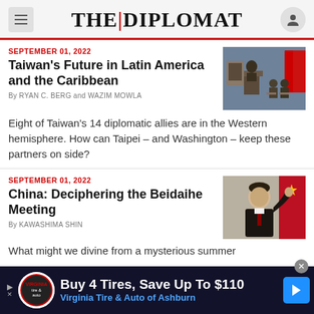THE | DIPLOMAT
SEPTEMBER 01, 2022
Taiwan's Future in Latin America and the Caribbean
By RYAN C. BERG and WAZIM MOWLA
[Figure (photo): A person speaking at a podium with Taiwanese flags in the background]
Eight of Taiwan's 14 diplomatic allies are in the Western hemisphere. How can Taipei – and Washington – keep these partners on side?
SEPTEMBER 01, 2022
China: Deciphering the Beidaihe Meeting
By KAWASHIMA SHIN
[Figure (photo): A man waving in front of Chinese flags]
What might we divine from a mysterious summer
[Figure (infographic): Advertisement: Buy 4 Tires, Save Up To $110 - Virginia Tire & Auto of Ashburn]